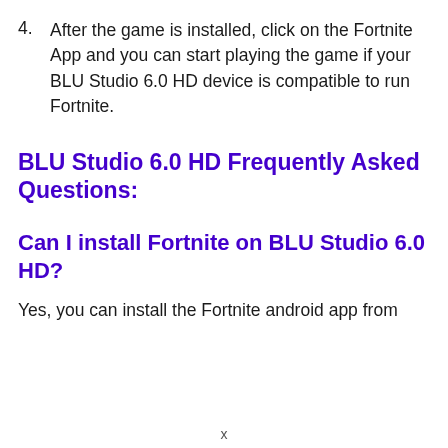4. After the game is installed, click on the Fortnite App and you can start playing the game if your BLU Studio 6.0 HD device is compatible to run Fortnite.
BLU Studio 6.0 HD Frequently Asked Questions:
Can I install Fortnite on BLU Studio 6.0 HD?
Yes, you can install the Fortnite android app from
x